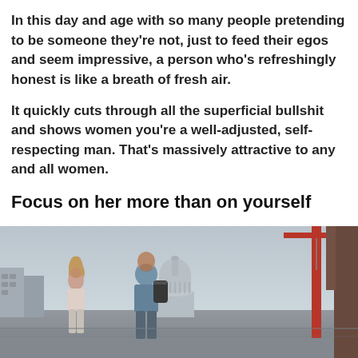In this day and age with so many people pretending to be someone they’re not, just to feed their egos and seem impressive, a person who’s refreshingly honest is like a breath of fresh air.
It quickly cuts through all the superficial bullshit and shows women you’re a well-adjusted, self-respecting man. That’s massively attractive to any and all women.
Focus on her more than on yourself
[Figure (photo): A man and woman walking on a bridge or walkway outdoors with St Paul's Cathedral dome visible in the background and a red crane on the right side. A large tree trunk is visible at the far right edge.]